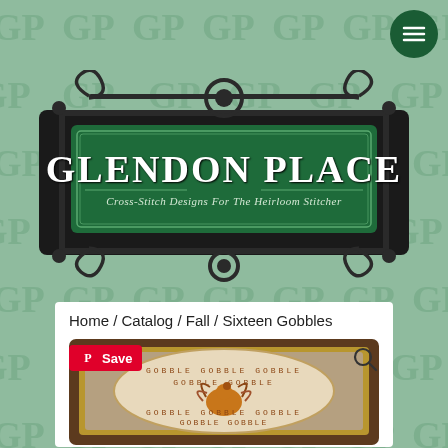[Figure (logo): Glendon Place cross-stitch brand logo with iron gate decorative frame, dark green background, white text reading GLENDON PLACE and subtitle Cross-Stitch Designs For The Heirloom Stitcher]
Home / Catalog / Fall / Sixteen Gobbles
[Figure (photo): Cross-stitch product image in a dark wood frame showing a circular design with turkeys and text GOBBLE repeated multiple times, partially visible at bottom of page. Has a red Pinterest Save button overlay and a search magnifier icon overlay.]